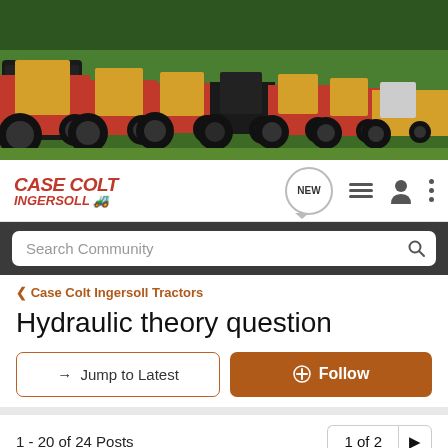[Figure (photo): Row of orange and beige Case Colt Ingersoll garden tractors lined up on a grass lawn]
Case Colt Ingersoll
Search Community
< Case Colt Ingersoll Tractors
Hydraulic theory question
→ Jump to Latest
+ Follow
1 - 20 of 24 Posts
1 of 2 ▶
99flhr · Registered